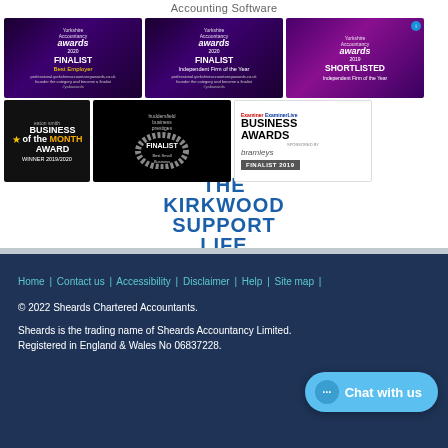Accounting Software
[Figure (photo): Yorkshire Accountancy Awards 2020 - Finalist, Best Employer]
[Figure (photo): Yorkshire Accountancy Awards 2020 - Finalist, Independent Firm of the Year]
[Figure (photo): Yorkshire Accountancy Awards 2019 - Shortlisted, Independent Firm of the Year]
[Figure (logo): Eaton Smith Business of the Month Award - Winner 2019/2020]
[Figure (photo): Finalist - Best Small Business wreath award]
[Figure (logo): Examiner Business Awards sponsored by bramleys - Finalist 2019]
[Figure (logo): The Kirkwood Support Life logo]
Home | Contact us | Accessibility | Disclaimer | Help | Site map |
© 2022 Sheards Chartered Accountants.
Sheards is the trading name of Sheards Accountancy Limited. Registered in England & Wales No 06837228.